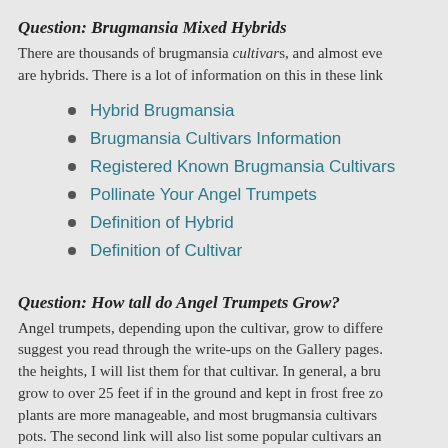Question: Brugmansia Mixed Hybrids
There are thousands of brugmansia cultivars, and almost eve are hybrids. There is a lot of information on this in these link
Hybrid Brugmansia
Brugmansia Cultivars Information
Registered Known Brugmansia Cultivars
Pollinate Your Angel Trumpets
Definition of Hybrid
Definition of Cultivar
Question: How tall do Angel Trumpets Grow?
Angel trumpets, depending upon the cultivar, grow to differe suggest you read through the write-ups on the Gallery pages. the heights, I will list them for that cultivar. In general, a bru grow to over 25 feet if in the ground and kept in frost free zo plants are more manageable, and most brugmansia cultivars pots. The second link will also list some popular cultivars an